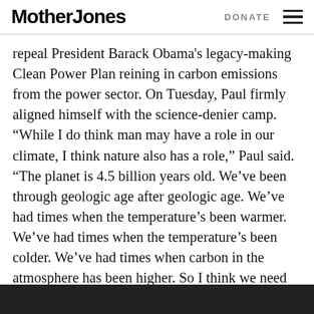Mother Jones   DONATE
repeal President Barack Obama's legacy-making Clean Power Plan reining in carbon emissions from the power sector. On Tuesday, Paul firmly aligned himself with the science-denier camp. “While I do think man may have a role in our climate, I think nature also has a role,” Paul said. “The planet is 4.5 billion years old. We’ve been through geologic age after geologic age. We’ve had times when the temperature’s been warmer. We’ve had times when the temperature’s been colder. We’ve had times when carbon in the atmosphere has been higher. So I think we need to look before we leap.”
[Figure (photo): Dark bar / image at bottom of page]